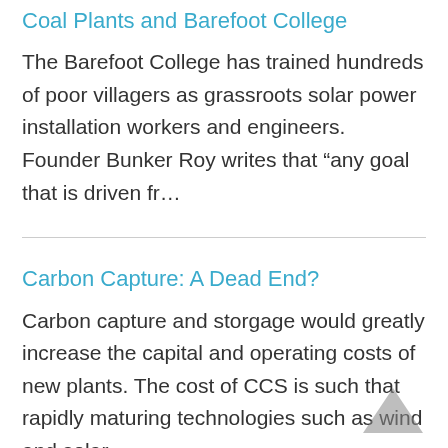Coal Plants and Barefoot College
The Barefoot College has trained hundreds of poor villagers as grassroots solar power installation workers and engineers. Founder Bunker Roy writes that “any goal that is driven fr…
Carbon Capture: A Dead End?
Carbon capture and storgage would greatly increase the capital and operating costs of new plants. The cost of CCS is such that rapidly maturing technologies such as wind and solar…